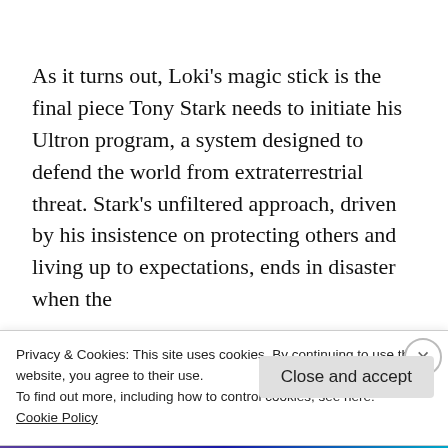As it turns out, Loki's magic stick is the final piece Tony Stark needs to initiate his Ultron program, a system designed to defend the world from extraterrestrial threat. Stark's unfiltered approach, driven by his insistence on protecting others and living up to expectations, ends in disaster when the artificially intelligent Ultron (James Spader)
Privacy & Cookies: This site uses cookies. By continuing to use this website, you agree to their use.
To find out more, including how to control cookies, see here:
Cookie Policy
Close and accept